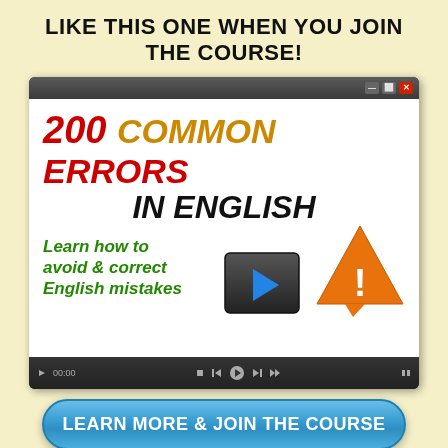LIKE THIS ONE WHEN YOU JOIN THE COURSE!
[Figure (screenshot): Video player thumbnail showing '200 COMMON ERRORS IN ENGLISH' course video with play button, warning triangle icon, and text 'Learn how to avoid & correct English mistakes'. Video player controls shown at bottom.]
LEARN MORE & JOIN THE COURSE